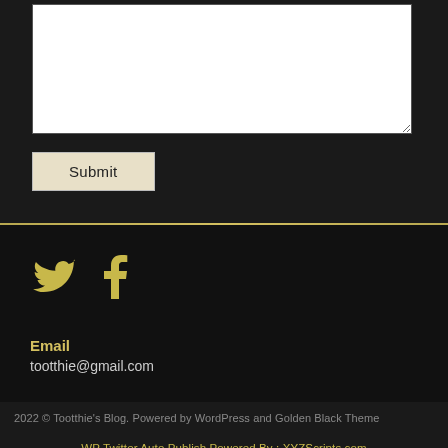[Figure (screenshot): A white textarea input box for user text entry]
[Figure (screenshot): A Submit button with light beige background]
[Figure (infographic): Twitter and Facebook social media icons in golden/beige color]
Email
tootthie@gmail.com
2022 © Tootthie's Blog. Powered by WordPress and Golden Black Theme
WP Twitter Auto Publish Powered By : XYZScripts.com